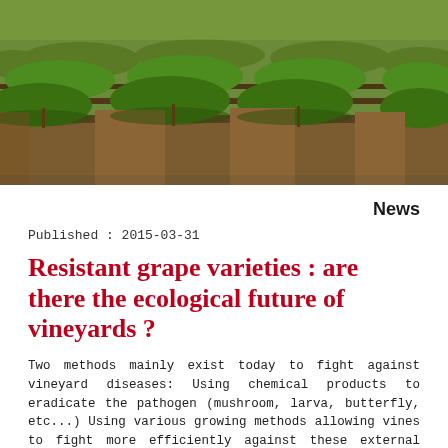[Figure (photo): Aerial/ground-level view of rows of grapevines in a vineyard on a sunny day, with green foliage and brown soil visible between the rows.]
News
Published : 2015-03-31
Resistant grape varieties : are there the ecological future of vineyards ?
Two methods mainly exist today to fight against vineyard diseases: Using chemical products to eradicate the pathogen (mushroom, larva, butterfly, etc...) Using various growing methods allowing vines to fight more efficiently against these external attacks: ground covers, crushing of vine shoots, etc .... which...